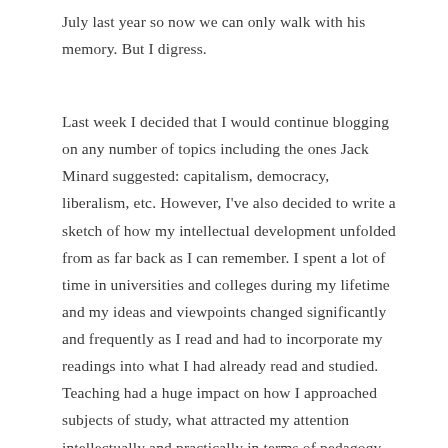July last year so now we can only walk with his memory. But I digress.
Last week I decided that I would continue blogging on any number of topics including the ones Jack Minard suggested: capitalism, democracy, liberalism, etc. However, I've also decided to write a sketch of how my intellectual development unfolded from as far back as I can remember. I spent a lot of time in universities and colleges during my lifetime and my ideas and viewpoints changed significantly and frequently as I read and had to incorporate my readings into what I had already read and studied. Teaching had a huge impact on how I approached subjects of study, what attracted my attention intellectually and practically in terms of pedagogy. One reason is that when I started teaching at SFU and Douglas College in the mid-70s the colleges in BC were quite new and begging for instructors. At SFU I was a teaching assistant and worked for a number of profs. At Douglas I was the instructor for introductory